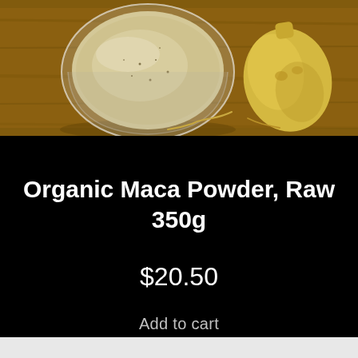[Figure (photo): A glass bowl filled with beige/cream colored maca powder on a brown wooden surface, with a yellow maca root tuber placed to the right of the bowl.]
Organic Maca Powder, Raw 350g
$20.50
Add to cart